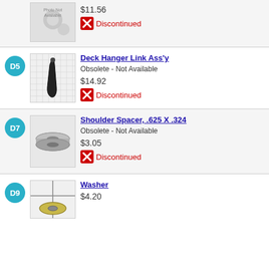[Figure (photo): Photo Not Available placeholder image]
$11.56
Discontinued
D5
[Figure (photo): Deck Hanger Link Ass'y part image on grid background]
Deck Hanger Link Ass'y
Obsolete - Not Available
$14.92
Discontinued
D7
[Figure (photo): Shoulder Spacer part photo - metallic washer/spacer]
Shoulder Spacer, .625 X .324
Obsolete - Not Available
$3.05
Discontinued
D9
[Figure (photo): Washer part photo]
Washer
$4.20